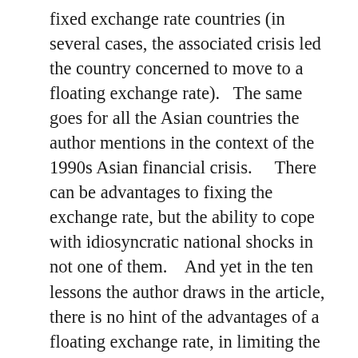fixed exchange rate countries (in several cases, the associated crisis led the country concerned to move to a floating exchange rate).   The same goes for all the Asian countries the author mentions in the context of the 1990s Asian financial crisis.    There can be advantages to fixing the exchange rate, but the ability to cope with idiosyncratic national shocks in not one of them.    And yet in the ten lessons the author draws in the article, there is no hint of the advantages of a floating exchange rate, in limiting the probability of a build-up of risk, and then in managing any busts that do arise.  It is a huge omission.  As a reminder, New Zealand, Australia, Norway, the UK, and Canada – the latter a country that has never had a